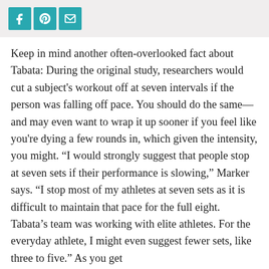[Social share icons: Facebook, Pinterest, Email]
Keep in mind another often-overlooked fact about Tabata: During the original study, researchers would cut a subject's workout off at seven intervals if the person was falling off pace. You should do the same—and may even want to wrap it up sooner if you feel like you're dying a few rounds in, which given the intensity, you might. “I would strongly suggest that people stop at seven sets if their performance is slowing,” Marker says. “I stop most of my athletes at seven sets as it is difficult to maintain that pace for the full eight. Tabata’s team was working with elite athletes. For the everyday athlete, I might even suggest fewer sets, like three to five.” As you get